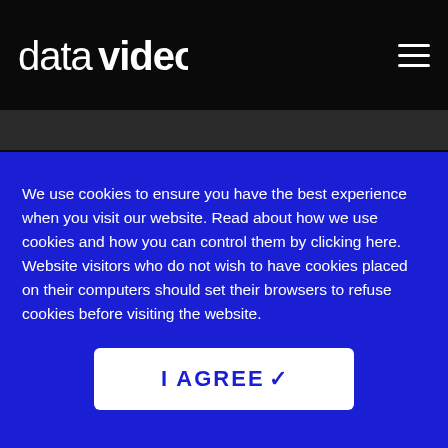datavideo
AKTUELLE NACHRICHTEN
We use cookies to ensure you have the best experience when you visit our website. Read about how we use cookies and how you can control them by clicking here. Website visitors who do not wish to have cookies placed on their computers should set their browsers to refuse cookies before visiting the website.
I AGREE ✓